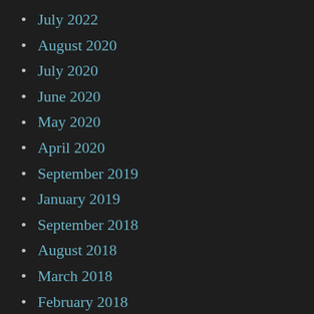July 2022
August 2020
July 2020
June 2020
May 2020
April 2020
September 2019
January 2019
September 2018
August 2018
March 2018
February 2018
November 2017
September 2017
August 2017
July 2017